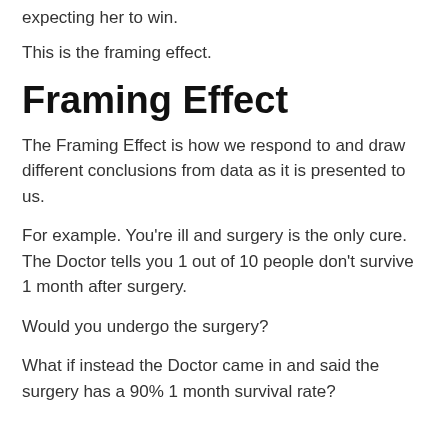expecting her to win.
This is the framing effect.
Framing Effect
The Framing Effect is how we respond to and draw different conclusions from data as it is presented to us.
For example. You're ill and surgery is the only cure. The Doctor tells you 1 out of 10 people don't survive 1 month after surgery.
Would you undergo the surgery?
What if instead the Doctor came in and said the surgery has a 90% 1 month survival rate?